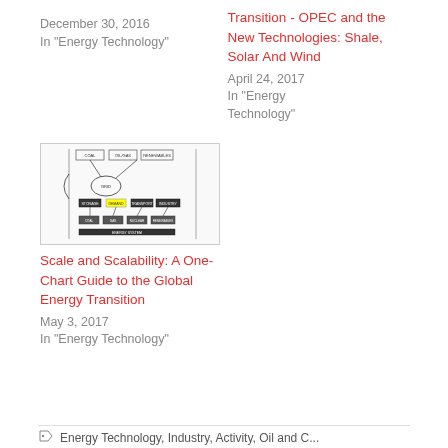December 30, 2016
In "Energy Technology"
Transition - OPEC and the New Technologies: Shale, Solar And Wind
April 24, 2017
In "Energy Technology"
[Figure (schematic): A complex flowchart/schematic diagram showing global energy system components with boxes, arrows, and a highlighted yellow element in the center. Text labels are small and mostly illegible.]
Scale and Scalability: A One-Chart Guide to the Global Energy Transition
May 3, 2017
In "Energy Technology"
Energy Technology, Industry, Activity, Oil and C...